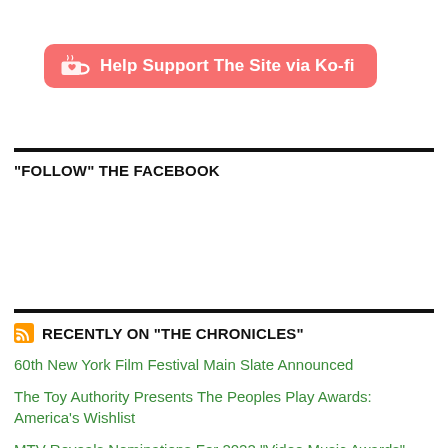[Figure (logo): Ko-fi support button with cup icon and text 'Help Support The Site via Ko-fi' on a red/salmon rounded rectangle]
“FOLLOW” THE FACEBOOK
RECENTLY ON “THE CHRONICLES”
60th New York Film Festival Main Slate Announced
The Toy Authority Presents The Peoples Play Awards: America’s Wishlist
MTV Reveals Nominations For 2022 “Video Music Awards” (VMAs)
NY NOW Owner Acquires Bulletin